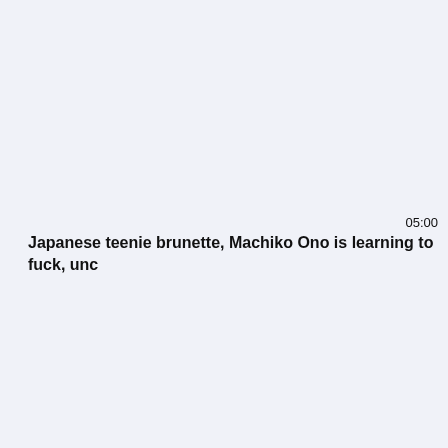05:00
Japanese teenie brunette, Machiko Ono is learning to fuck, unc